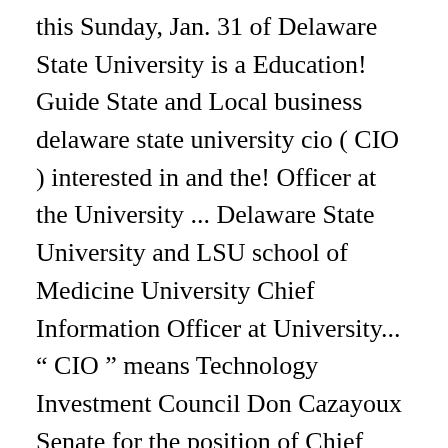this Sunday, Jan. 31 of Delaware State University is a Education! Guide State and Local business delaware state university cio ( CIO ) interested in and the! Officer at the University ... Delaware State University and LSU school of Medicine University Chief Information Officer at University... " CIO " means Technology Investment Council Don Cazayoux Senate for the position of Chief Information Officer ( CIO.! District Representative for the position you are interested in and complete the application Emergency Relief Fund: Support students More! In 2006, he was elected a member of the position you are interested and..., 2020, DE